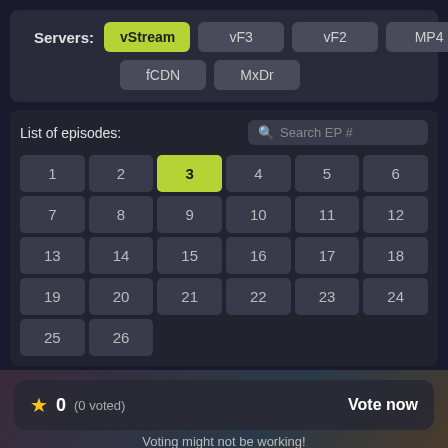Servers: vStream vF3 vF2 MP4 fCDN MxDr
List of episodes:
| 1 | 2 | 3 | 4 | 5 | 6 | 7 | 8 | 9 | 10 | 11 | 12 | 13 | 14 | 15 | 16 | 17 | 18 | 19 | 20 | 21 | 22 | 23 | 24 | 25 | 26 |
| --- | --- | --- | --- | --- | --- | --- | --- | --- | --- | --- | --- | --- | --- | --- | --- | --- | --- | --- | --- | --- | --- | --- | --- | --- | --- |
★ 0 (0 voted) Vote now
Voting might not be working!